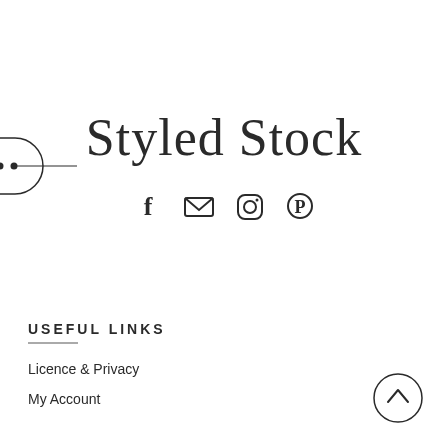[Figure (logo): Decorative pill/bubble shape with three dots on left side]
Styled Stock
[Figure (infographic): Social media icons row: Facebook, Email/envelope, Instagram, Pinterest]
USEFUL LINKS
Licence & Privacy
My Account
[Figure (other): Back to top button: circle with upward chevron arrow]